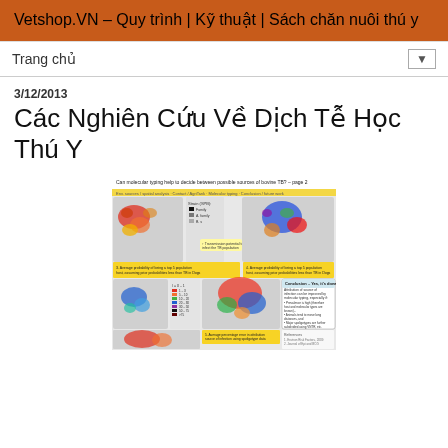Vetshop.VN – Quy trình | Kỹ thuật | Sách chăn nuôi thú y
Trang chủ
3/12/2013
Các Nghiên Cứu Về Dịch Tễ Học Thú Y
[Figure (map): Scientific poster map showing molecular typing analysis for bovine TB sources across a geographic region, with multiple colored maps and a conclusions panel.]